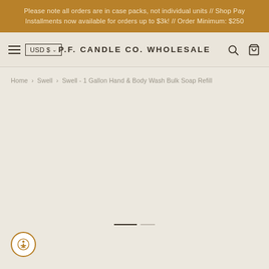Please note all orders are in case packs, not individual units // Shop Pay Installments now available for orders up to $3k! // Order Minimum: $250
P.F. CANDLE CO. WHOLESALE
Home › Swell › Swell - 1 Gallon Hand & Body Wash Bulk Soap Refill